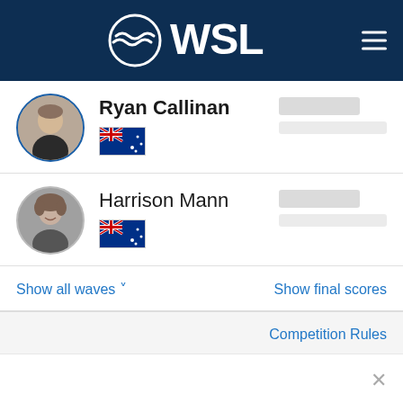WSL
Ryan Callinan
Harrison Mann
Show all waves
Show final scores
Competition Rules
Seeding Round
Elimination Round